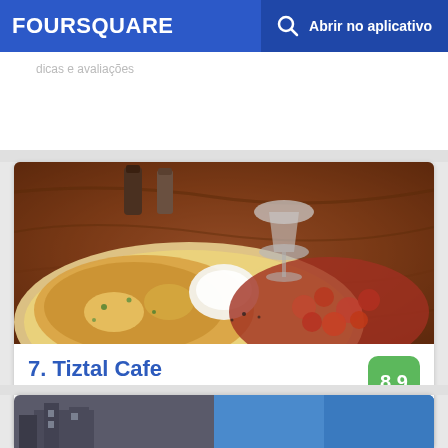FOURSQUARE  Abrir no aplicativo
dicas e avaliações
[Figure (photo): Food photo showing a plate with eggs, potatoes, and other breakfast items on a wooden table with salt and pepper shakers in the background]
7. Tiztal Cafe
4631 N Clark St (btwn Wilson Ave. & Leland Ave.), Chicago, IL
Café da Manhã · Uptown · 50 dicas e avaliações
[Figure (photo): Partial view of another restaurant listing photo showing a building exterior]